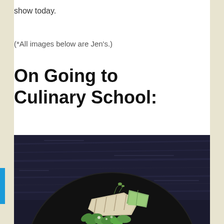show today.
(*All images below are Jen's.)
On Going to Culinary School:
[Figure (photo): Dark moody food photography showing a black plate with a piece of grilled fish, green leaves/arugula, and garnishes on a dark wooden background]